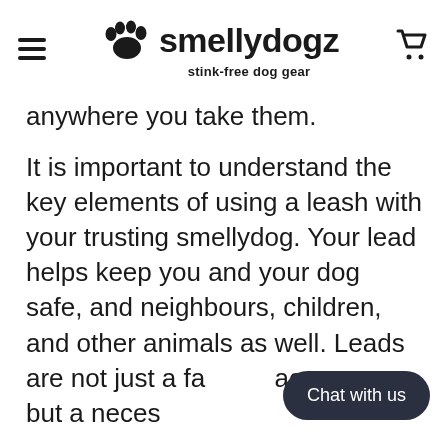smellydogz — stink-free dog gear
anywhere you take them.
It is important to understand the key elements of using a leash with your trusting smellydog. Your lead helps keep you and your dog safe, and neighbours, children, and other animals as well. Leads are not just a fa… accessory, but a neces…